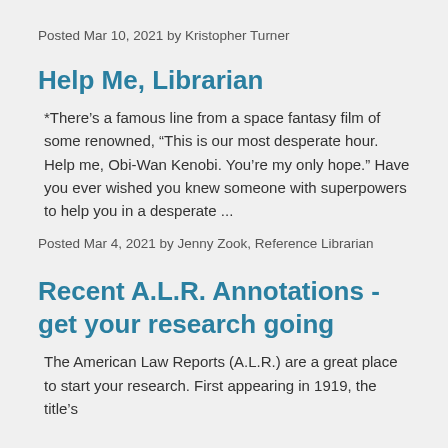Posted Mar 10, 2021 by Kristopher Turner
Help Me, Librarian
*There’s a famous line from a space fantasy film of some renowned, “This is our most desperate hour. Help me, Obi-Wan Kenobi. You’re my only hope.” Have you ever wished you knew someone with superpowers to help you in a desperate ...
Posted Mar 4, 2021 by Jenny Zook, Reference Librarian
Recent A.L.R. Annotations - get your research going
The American Law Reports (A.L.R.) are a great place to start your research. First appearing in 1919, the title’s